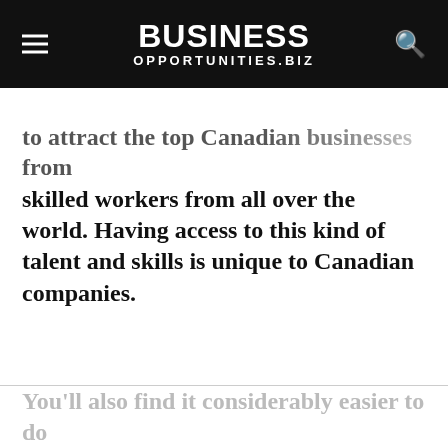BUSINESS OPPORTUNITIES.BIZ
skilled workers from all over the world. Having access to this kind of talent and skills is unique to Canadian companies.
You'll also find it considerably easier to do